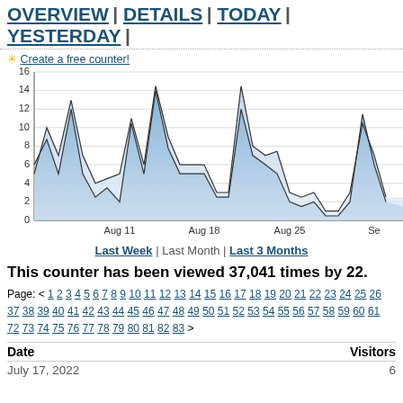OVERVIEW | DETAILS | TODAY | YESTERDAY |
✳ Create a free counter!
[Figure (area-chart): Area chart showing daily visitor counts over approximately 4 weeks around August 2022. Two overlapping area series (light blue fill and darker blue fill) with line traces. Y-axis: 0 to 16. X-axis labels: Aug 11, Aug 18, Aug 25, Se(ptember). Values approximate: multiple peaks around 13-14 near Aug 11, peak of 14-15 near Aug 18, smaller peaks around 10 near Sep 1.]
Last Week | Last Month | Last 3 Months
This counter has been viewed 37,041 times by 22.
Page: < 1 2 3 4 5 6 7 8 9 10 11 12 13 14 15 16 17 18 19 20 21 22 23 24 25 26 37 38 39 40 41 42 43 44 45 46 47 48 49 50 51 52 53 54 55 56 57 58 59 60 61 72 73 74 75 76 77 78 79 80 81 82 83 >
| Date | Visitors |
| --- | --- |
| July 17, 2022 | 6 |